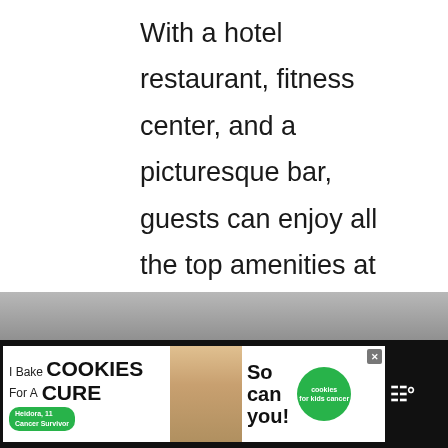With a hotel restaurant, fitness center, and a picturesque bar, guests can enjoy all the top amenities at citizenM. Guests will have cable TV, luxurious linen, and beautiful bathrooms to come home to after taking in the nearby downtown sites like LA Live and the Staples Center.
[Figure (screenshot): Teal circular heart/like button]
1
[Figure (screenshot): Share button (circle with share icon)]
[Figure (screenshot): What's Next panel with circular thumbnail of a city aerial photo and text: WHAT'S NEXT → Where to Stay in Santa...]
[Figure (screenshot): Gray strip of an interior image partially visible]
[Figure (screenshot): Advertisement bar: I Bake COOKIES For A CURE with Heidora, 11 Cancer Survivor badge, person image, 'So can you!' text, cookies for kids cancer green circle logo, X close button, Tidal logo]